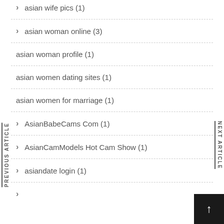asian wife pics (1)
asian woman online (3)
asian woman profile (1)
asian women dating sites (1)
asian women for marriage (1)
AsianBabeCams Com (1)
AsianCamModels Hot Cam Show (1)
asiandate login (1)